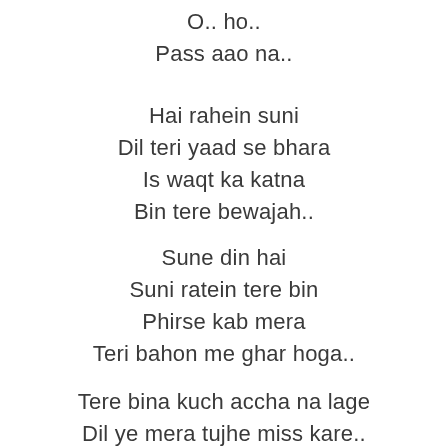O.. ho..
Pass aao na..
Hai rahein suni
Dil teri yaad se bhara
Is waqt ka katna
Bin tere bewajah..
Sune din hai
Suni ratein tere bin
Phirse kab mera
Teri bahon me ghar hoga..
Tere bina kuch accha na lage
Dil ye mera tujhe miss kare..